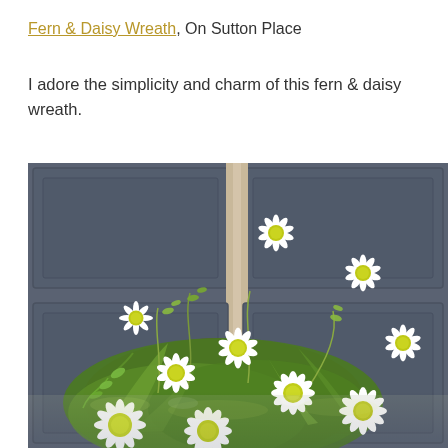Fern & Daisy Wreath, On Sutton Place
I adore the simplicity and charm of this fern & daisy wreath.
[Figure (photo): A fern and daisy wreath hanging on a dark blue-gray door, with white daisy flowers with yellow-green centers and lush green fern foliage filling the frame. The image is cropped to show the wreath close up against the paneled door.]